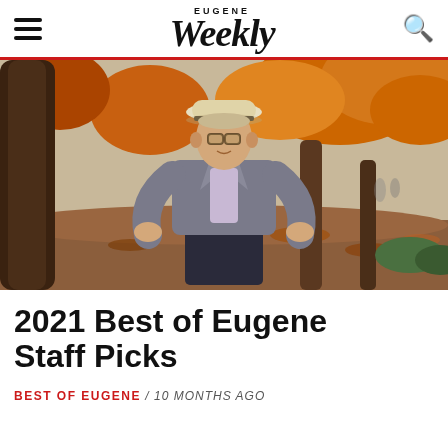EUGENE Weekly
[Figure (photo): Man in a fedora hat and grey blazer standing outdoors in an autumn park with orange and brown foliage, hands on hips, smiling slightly]
2021 Best of Eugene Staff Picks
BEST OF EUGENE / 10 MONTHS AGO